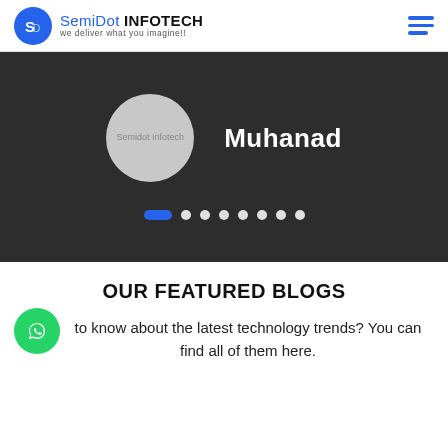SemiDot INFOTECH - we deliver what you imagine!!
[Figure (screenshot): Dark slider section with a circular avatar placeholder labeled 'Semidot Infotech' and name 'Muhanad', with pagination dots below]
OUR FEATURED BLOGS
to know about the latest technology trends? You can find all of them here.